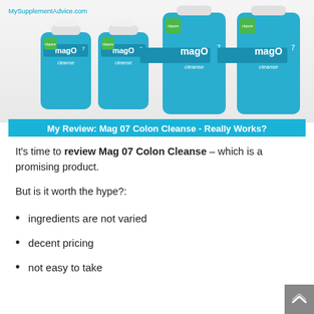[Figure (photo): Four blue bottles of magO7 cleanse supplement by nbpure, arranged in two pairs of different sizes against a light background. Website label 'MySupplementAdvice.com' in teal at top left.]
My Review: Mag 07 Colon Cleanse - Really Works?
It's time to review Mag 07 Colon Cleanse – which is a promising product.
But is it worth the hype?:
ingredients are not varied
decent pricing
not easy to take